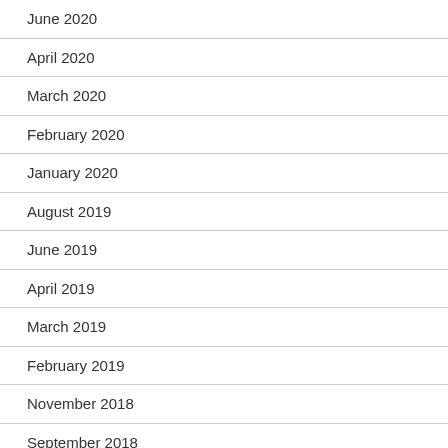June 2020
April 2020
March 2020
February 2020
January 2020
August 2019
June 2019
April 2019
March 2019
February 2019
November 2018
September 2018
August 2018